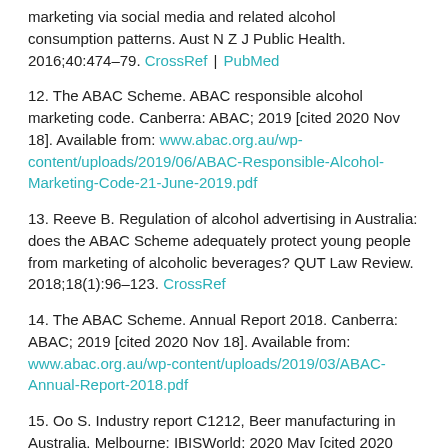marketing via social media and related alcohol consumption patterns. Aust N Z J Public Health. 2016;40:474–79. CrossRef | PubMed
12. The ABAC Scheme. ABAC responsible alcohol marketing code. Canberra: ABAC; 2019 [cited 2020 Nov 18]. Available from: www.abac.org.au/wp-content/uploads/2019/06/ABAC-Responsible-Alcohol-Marketing-Code-21-June-2019.pdf
13. Reeve B. Regulation of alcohol advertising in Australia: does the ABAC Scheme adequately protect young people from marketing of alcoholic beverages? QUT Law Review. 2018;18(1):96–123. CrossRef
14. The ABAC Scheme. Annual Report 2018. Canberra: ABAC; 2019 [cited 2020 Nov 18]. Available from: www.abac.org.au/wp-content/uploads/2019/03/ABAC-Annual-Report-2018.pdf
15. Oo S. Industry report C1212, Beer manufacturing in Australia. Melbourne: IBISWorld; 2020 May [cited 2020 Nov 18]. Available from: www.ibisworld.com